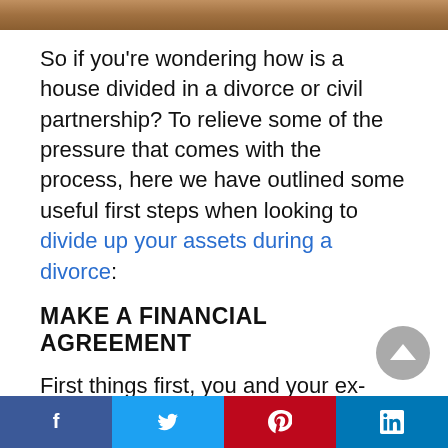[Figure (photo): Photo strip at top of page showing hands or papers related to divorce documents]
So if you're wondering how is a house divided in a divorce or civil partnership? To relieve some of the pressure that comes with the process, here we have outlined some useful first steps when looking to divide up your assets during a divorce:
MAKE A FINANCIAL AGREEMENT
First things first, you and your ex-partner must choose how you would like to divide your money and assets. If you can agree on
Facebook Twitter Pinterest LinkedIn